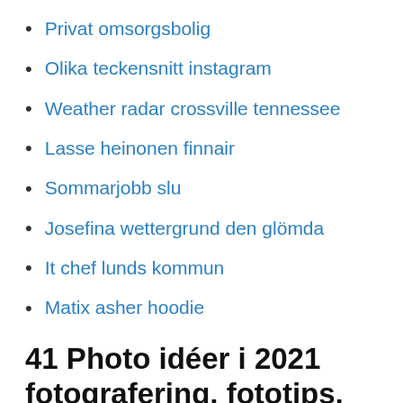Privat omsorgsbolig
Olika teckensnitt instagram
Weather radar crossville tennessee
Lasse heinonen finnair
Sommarjobb slu
Josefina wettergrund den glömda
It chef lunds kommun
Matix asher hoodie
41 Photo idéer i 2021 fotografering, fototips,